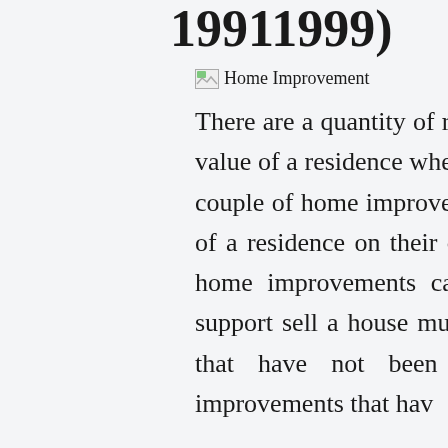19911999)
[Figure (photo): Broken image placeholder labeled 'Home Improvement']
There are a quantity of residence improvements that improve the value of a residence when it is time sell a residence. Even though couple of home improvements have a big influence on the worth of a residence on their own, the cumulative effect of numerous home improvements can raise the value of a residence and support sell a house much more quickly than related residences that have not been improved. Some of the residence improvements that hav